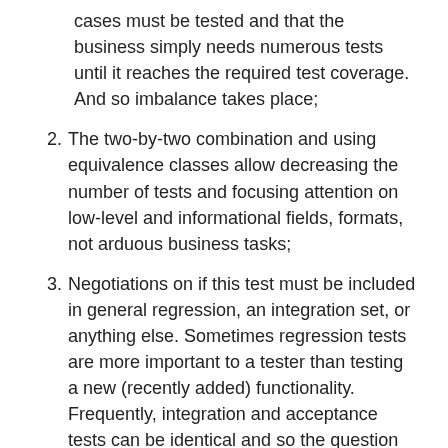cases must be tested and that the business simply needs numerous tests until it reaches the required test coverage. And so imbalance takes place;
2. The two-by-two combination and using equivalence classes allow decreasing the number of tests and focusing attention on low-level and informational fields, formats, not arduous business tasks;
3. Negotiations on if this test must be included in general regression, an integration set, or anything else. Sometimes regression tests are more important to a tester than testing a new (recently added) functionality. Frequently, integration and acceptance tests can be identical and so the question arises "What is the sense of